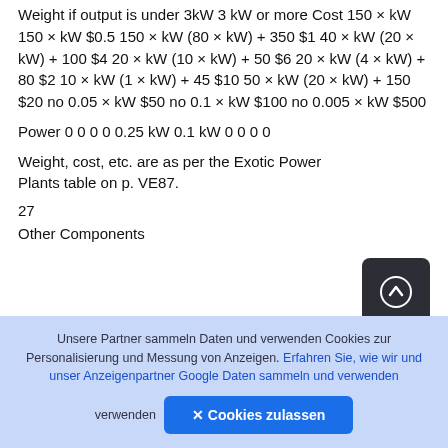Weight if output is under 3kW 3 kW or more Cost 150 × kW 150 × kW $0.5 150 × kW (80 × kW) + 350 $1 40 × kW (20 × kW) + 100 $4 20 × kW (10 × kW) + 50 $6 20 × kW (4 × kW) + 80 $2 10 × kW (1 × kW) + 45 $10 50 × kW (20 × kW) + 150 $20 no 0.05 × kW $50 no 0.1 × kW $100 no 0.005 × kW $500
Power 0 0 0 0 0.25 kW 0.1 kW 0 0 0 0
Weight, cost, etc. are as per the Exotic Power Plants table on p. VE87.
27
Other Components
Unsere Partner sammeln Daten und verwenden Cookies zur Personalisierung und Messung von Anzeigen. Erfahren Sie, wie wir und unser Anzeigenpartner Google Daten sammeln und verwenden